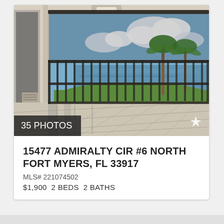[Figure (photo): Screened lanai/balcony of a condo with tiled floor, black metal railing, view of waterway, palm trees, green lawn, and blue sky with clouds]
35 PHOTOS
15477 ADMIRALTY CIR #6 NORTH FORT MYERS, FL 33917
MLS# 221074502
$1,900  2 BEDS  2 BATHS